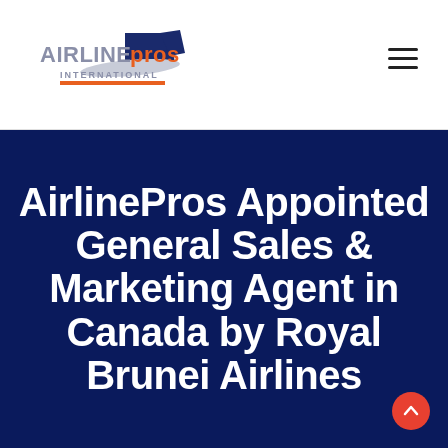[Figure (logo): AirlinePros International logo with airplane tail graphic in dark navy and orange accent bar]
AirlinePros Appointed General Sales & Marketing Agent in Canada by Royal Brunei Airlines